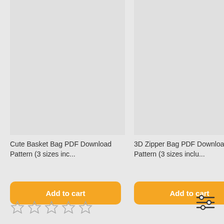[Figure (screenshot): Product card image area for Cute Basket Bag PDF Download Pattern - light grey placeholder]
Cute Basket Bag PDF Download Pattern (3 sizes inc...
Add to cart
[Figure (screenshot): Product card image area for 3D Zipper Bag PDF Download Pattern - light grey placeholder]
3D Zipper Bag PDF Download Pattern (3 sizes inclu...
Add to cart
[Figure (illustration): Five empty star rating icons in a row]
[Figure (illustration): Filter/settings sliders icon]